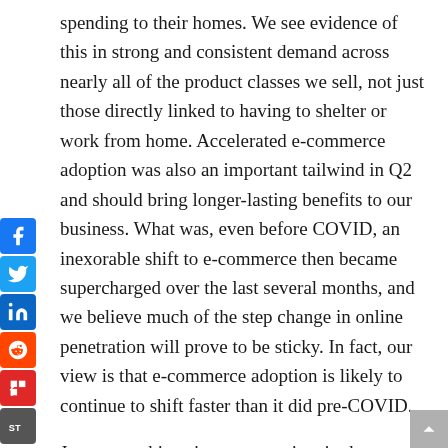spending to their homes. We see evidence of this in strong and consistent demand across nearly all of the product classes we sell, not just those directly linked to having to shelter or work from home. Accelerated e-commerce adoption was also an important tailwind in Q2 and should bring longer-lasting benefits to our business. What was, even before COVID, an inexorable shift to e-commerce then became supercharged over the last several months, and we believe much of the step change in online penetration will prove to be sticky. In fact, our view is that e-commerce adoption is likely to continue to shift faster than it did pre-COVID.
Just to put things into perspective, in the quarter, we activated nearly five million net new customers, more than the last four quarters combined. In the U.S., we